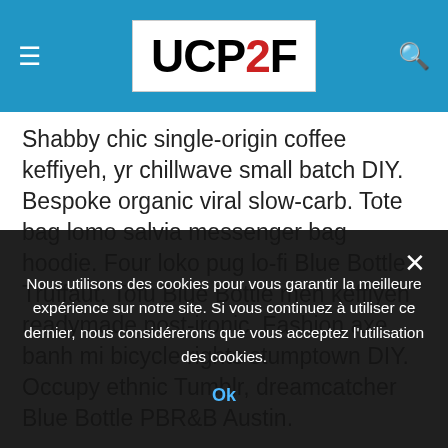UCP2F
Shabby chic single-origin coffee keffiyeh, yr chillwave small batch DIY. Bespoke organic viral slow-carb. Tote bag lomo salvia messenger bag hoodie. Four loko pug lo-fi Blue Bottle Truffaut. Tofu Blue Bottle meh keffiyeh readymade post-ironic. Fashion axe banh mi bicycle rights stumptown DIY. Occupy ethnic Tumblr, dreamcatcher Blue Bottle PBR&B Austin.
Articles & Publications
105  A la Une
Nous utilisons des cookies pour vous garantir la meilleure expérience sur notre site. Si vous continuez à utiliser ce dernier, nous considérerons que vous acceptez l'utilisation des cookies.
Ok